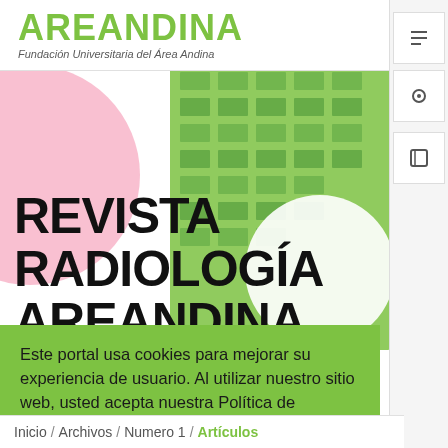AREANDINA
Fundación Universitaria del Área Andina
REVISTA RADIOLOGÍA AREANDINA
Este portal usa cookies para mejorar su experiencia de usuario. Al utilizar nuestro sitio web, usted acepta nuestra Política de cookies.
Estoy de acuerdo
Inicio / Archivos / Numero 1 / Artículos